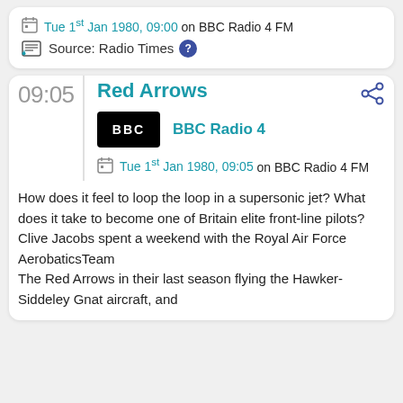Tue 1st Jan 1980, 09:00 on BBC Radio 4 FM
Source: Radio Times
Red Arrows
BBC Radio 4
Tue 1st Jan 1980, 09:05 on BBC Radio 4 FM
How does it feel to loop the loop in a supersonic jet? What does it take to become one of Britain elite front-line pilots?
Clive Jacobs spent a weekend with the Royal Air Force AerobaticsTeam
The Red Arrows in their last season flying the Hawker-Siddeley Gnat aircraft, and